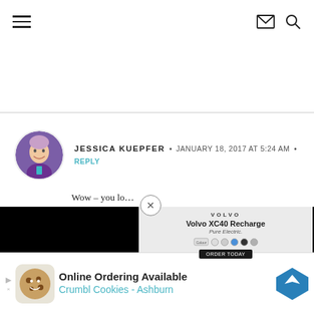Navigation bar with hamburger menu, mail icon, and search icon
JESSICA KUEPFER • JANUARY 18, 2017 AT 5:24 AM • REPLY
Wow – you lo... time!
My workout t... yoga. (And w...
[Figure (screenshot): Volvo XC40 Recharge advertisement overlay with black panels on left and right, center showing Volvo logo, car image, and colour selector]
[Figure (screenshot): Bottom banner ad: Online Ordering Available - Crumbl Cookies - Ashburn, with cookie mascot icon and blue navigation arrow badge]